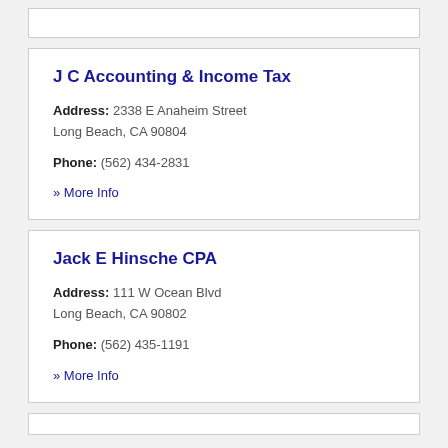J C Accounting & Income Tax
Address: 2338 E Anaheim Street Long Beach, CA 90804
Phone: (562) 434-2831
» More Info
Jack E Hinsche CPA
Address: 111 W Ocean Blvd Long Beach, CA 90802
Phone: (562) 435-1191
» More Info